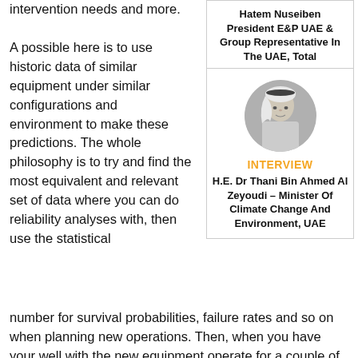intervention needs and more. A possible here is to use historic data of similar equipment under similar configurations and environment to make these predictions. The whole philosophy is to try and find the most equivalent and relevant set of data where you can do reliability analyses with, then use the statistical
Hatem Nuseiben
President E&P UAE & Group Representative In The UAE, Total
[Figure (photo): Circular black and white portrait photo of H.E. Dr Thani Bin Ahmed Al Zeyoudi, a man wearing traditional UAE attire (ghutra and thobe)]
INTERVIEW
H.E. Dr Thani Bin Ahmed Al Zeyoudi – Minister Of Climate Change And Environment, UAE
number for survival probabilities, failure rates and so on when planning new operations. Then, when you have your well with the new equipment operate for a couple of yours you update the data with what you have gathered from operation your